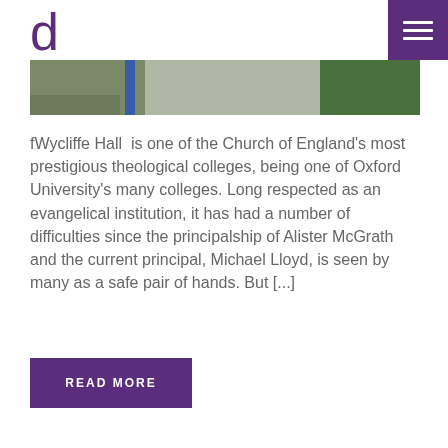d
[Figure (photo): Outdoor photo strip showing a path with blue poles/pillars and greenery in the background]
fWycliffe Hall  is one of the Church of England’s most prestigious theological colleges, being one of Oxford University’s many colleges. Long respected as an evangelical institution, it has had a number of difficulties since the principalship of Alister McGrath and the current principal, Michael Lloyd, is seen by many as a safe pair of hands. But […]
READ MORE